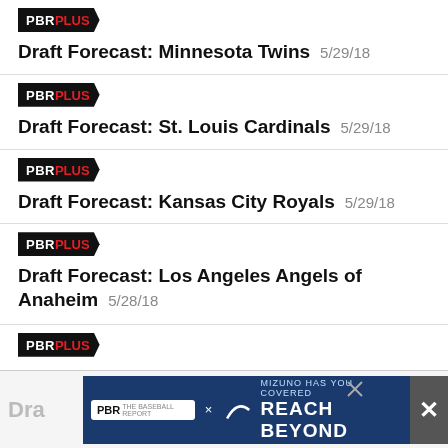[Figure (logo): PBR PLUS badge logo]
Draft Forecast: Minnesota Twins  5/29/18
[Figure (logo): PBR PLUS badge logo]
Draft Forecast: St. Louis Cardinals  5/29/18
[Figure (logo): PBR PLUS badge logo]
Draft Forecast: Kansas City Royals  5/29/18
[Figure (logo): PBR PLUS badge logo]
Draft Forecast: Los Angeles Angels of Anaheim  5/28/18
[Figure (logo): PBR PLUS badge logo]
Dra...
[Figure (screenshot): Advertisement banner: PBR x Mizuno - MIZUNO HAS YOU COVERED REACH BEYOND]